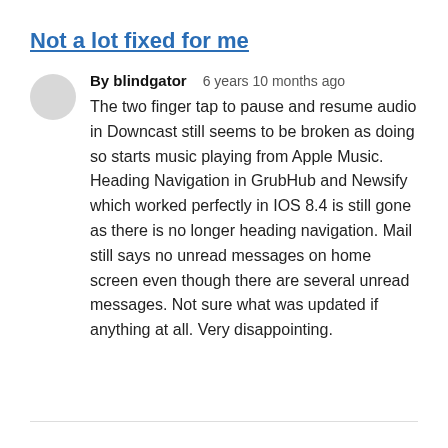Not a lot fixed for me
By blindgator   6 years 10 months ago
The two finger tap to pause and resume audio in Downcast still seems to be broken as doing so starts music playing from Apple Music. Heading Navigation in GrubHub and Newsify which worked perfectly in IOS 8.4 is still gone as there is no longer heading navigation. Mail still says no unread messages on home screen even though there are several unread messages. Not sure what was updated if anything at all. Very disappointing.